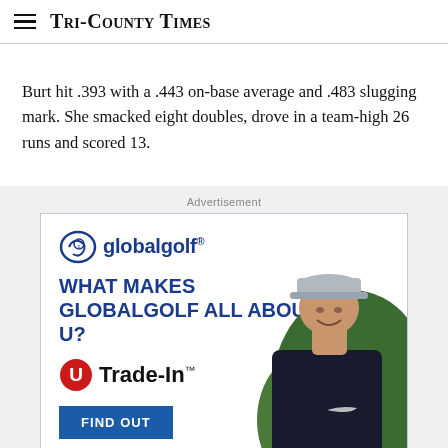Tri-County Times
Burt hit .393 with a .443 on-base average and .483 slugging mark. She smacked eight doubles, drove in a team-high 26 runs and scored 13.
Advertisement
[Figure (photo): GlobalGolf advertisement featuring the globalgolf logo, text 'WHAT MAKES GLOBALGOLF ALL ABOUT U?', a U Trade-In logo, a FIND OUT button, and a smiling man wearing a cap and dark jacket standing in front of green foliage.]